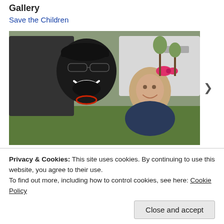Gallery
Save the Children
[Figure (photo): A smiling man wearing a black cap and sunglasses posing with a young girl wearing a pink bow in her hair. They are outdoors near a white vehicle with grass visible in the background.]
Privacy & Cookies: This site uses cookies. By continuing to use this website, you agree to their use.
To find out more, including how to control cookies, see here: Cookie Policy
Close and accept